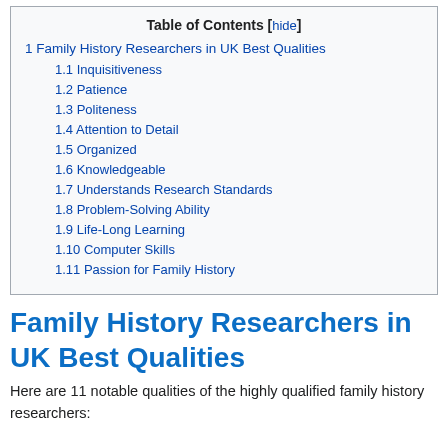| Table of Contents [hide] |
| 1 Family History Researchers in UK Best Qualities |
| 1.1 Inquisitiveness |
| 1.2 Patience |
| 1.3 Politeness |
| 1.4 Attention to Detail |
| 1.5 Organized |
| 1.6 Knowledgeable |
| 1.7 Understands Research Standards |
| 1.8 Problem-Solving Ability |
| 1.9 Life-Long Learning |
| 1.10 Computer Skills |
| 1.11 Passion for Family History |
Family History Researchers in UK Best Qualities
Here are 11 notable qualities of the highly qualified family history researchers: